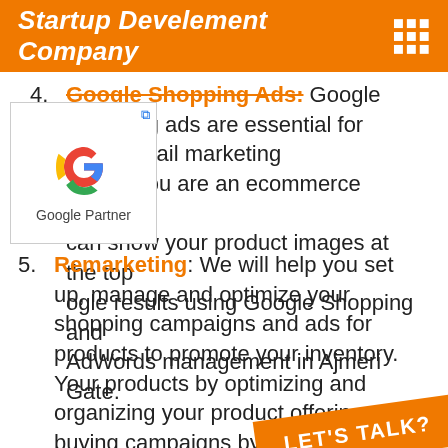Startup Develement Company
4. Google Shopping Ads: Google Shopping ads are essential for online retail marketing opportunities. If you are an ecommerce reseller, can show your product images at the top of Google results using Google Shopping and AdWords management in Ajmeri Gate.
[Figure (logo): Google Partner logo with Google 'G' multicolor icon and text 'Google Partner']
5. Remarketing: We will help you set up, manage and optimize your shopping campaigns and ads for products to promote your inventory. Your products by optimizing and organizing your product offering and buying campaigns by targeting Remarketing is a smart technical advertisement that allow you to serve ads to use
LET'S TALK?